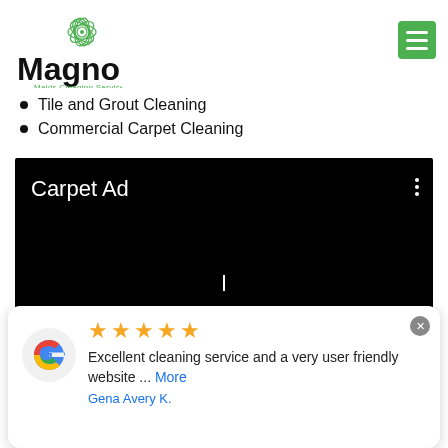[Figure (logo): Magnolias Maids Cleaning Service logo with green flower illustration above the text]
Tile and Grout Cleaning
Commercial Carpet Cleaning
[Figure (screenshot): Black video player area with text 'Carpet Ad' and three vertical dots menu, loading cursor visible]
[Figure (other): Google review card with 5 gold stars, review text 'Excellent cleaning service and a very user friendly website ... More', reviewer name 'Gena Avery K.']